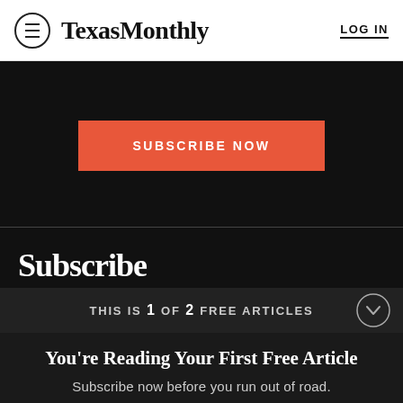Texas Monthly  LOG IN
[Figure (screenshot): Subscribe now orange button on black background]
Subscribe
THIS IS 1 OF 2 FREE ARTICLES
You're Reading Your First Free Article
Subscribe now before you run out of road.
[Figure (screenshot): Subscribe now orange button on dark background]
Already a subscriber? Log in